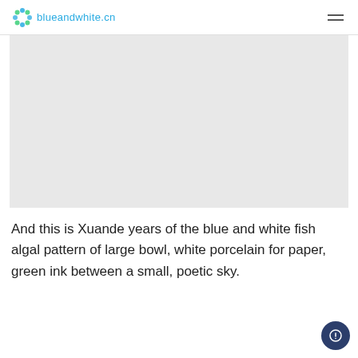blueandwhite.cn
[Figure (photo): A large light gray rectangular placeholder image area for a blue and white porcelain bowl photo.]
And this is Xuande years of the blue and white fish algal pattern of large bowl, white porcelain for paper, green ink between a small, poetic sky.